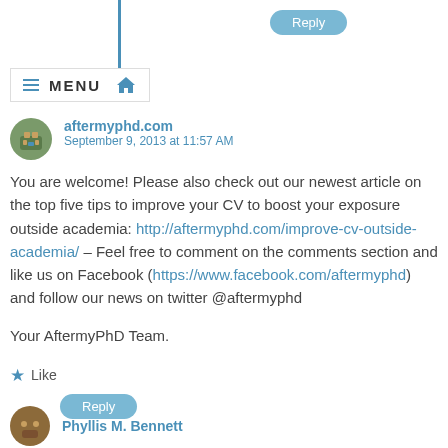[Figure (screenshot): Reply button at top of page]
[Figure (screenshot): Navigation bar with MENU and home icon]
aftermyphd.com
September 9, 2013 at 11:57 AM
You are welcome! Please also check out our newest article on the top five tips to improve your CV to boost your exposure outside academia: http://aftermyphd.com/improve-cv-outside-academia/ – Feel free to comment on the comments section and like us on Facebook (https://www.facebook.com/aftermyphd) and follow our news on twitter @aftermyphd

Your AftermyPhD Team.
★ Like
[Figure (screenshot): Reply button]
Phyllis M. Bennett